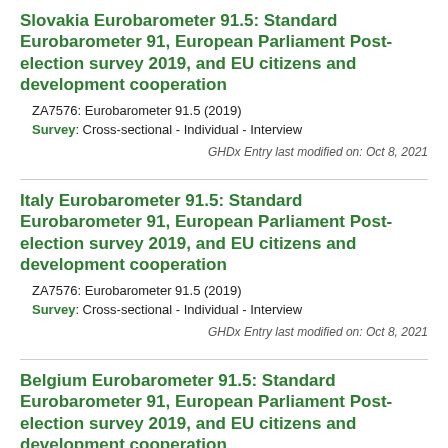Slovakia Eurobarometer 91.5: Standard Eurobarometer 91, European Parliament Post-election survey 2019, and EU citizens and development cooperation
ZA7576: Eurobarometer 91.5 (2019)
Survey: Cross-sectional - Individual - Interview
GHDx Entry last modified on: Oct 8, 2021
Italy Eurobarometer 91.5: Standard Eurobarometer 91, European Parliament Post-election survey 2019, and EU citizens and development cooperation
ZA7576: Eurobarometer 91.5 (2019)
Survey: Cross-sectional - Individual - Interview
GHDx Entry last modified on: Oct 8, 2021
Belgium Eurobarometer 91.5: Standard Eurobarometer 91, European Parliament Post-election survey 2019, and EU citizens and development cooperation